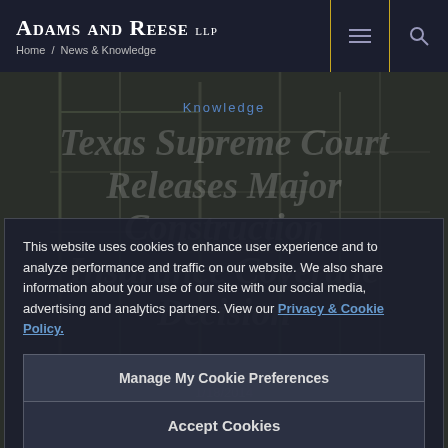Adams and Reese LLP | Home / News & Knowledge
[Figure (screenshot): Website screenshot of Adams and Reese LLP law firm with cookie consent overlay. Background shows construction cranes (dark/dim image). Cookie overlay states: 'This website uses cookies to enhance user experience and to analyze performance and traffic on our website. We also share information about your use of our site with our social media, advertising and analytics partners. View our Privacy & Cookie Policy.' with buttons 'Manage My Cookie Preferences' and 'Accept Cookies'. Behind overlay: page heading reads 'Texas Supreme Court Releases Major Construction Insurance Coverage Decision' dated 1/18/2014.]
This website uses cookies to enhance user experience and to analyze performance and traffic on our website. We also share information about your use of our site with our social media, advertising and analytics partners. View our Privacy & Cookie Policy.
Manage My Cookie Preferences
Accept Cookies
Texas Supreme Court Releases Major Construction Insurance Coverage Decision
1/18/2014